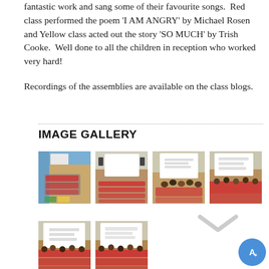fantastic work and sang some of their favourite songs.  Red class performed the poem 'I AM ANGRY' by Michael Rosen and Yellow class acted out the story 'SO MUCH' by Trish Cooke.  Well done to all the children in reception who worked very hard!
Recordings of the assemblies are available on the class blogs.
IMAGE GALLERY
[Figure (photo): School assembly hall with children sitting on floor, large projection screen visible, adults at front]
[Figure (photo): School assembly hall with large white projection screen, children seated in rows]
[Figure (photo): School hall with projection screen showing content, children in red uniforms seated]
[Figure (photo): Children in red uniforms seated in assembly, large screen with content visible]
[Figure (photo): Assembly hall with large screen showing presentation, children in red uniforms standing in rows]
[Figure (photo): School assembly with large projection screen, children in red uniforms standing]